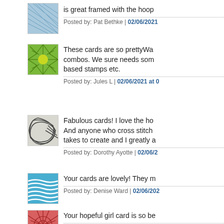[Figure (illustration): Thumbnail avatar: blue geometric lines pattern]
is great framed with the hoop
Posted by: Pat Bethke | 02/06/2021
[Figure (illustration): Thumbnail avatar: green sunburst/rays with yellow circle center]
These cards are so prettyWa combos. We sure needs som based stamps etc.
Posted by: Jules L | 02/06/2021 at 0
[Figure (illustration): Thumbnail avatar: dark abstract curved lines on light background]
Fabulous cards! I love the ho And anyone who cross stitch takes to create and I greatly a
Posted by: Dorothy Ayotte | 02/06/2
[Figure (illustration): Thumbnail avatar: blue wavy lines pattern]
Your cards are lovely! They m
Posted by: Denise Ward | 02/06/202
[Figure (illustration): Thumbnail avatar: red/pink starburst/geometric pattern]
Your hopeful girl card is so be
Posted by: Sarah L... | 02/0